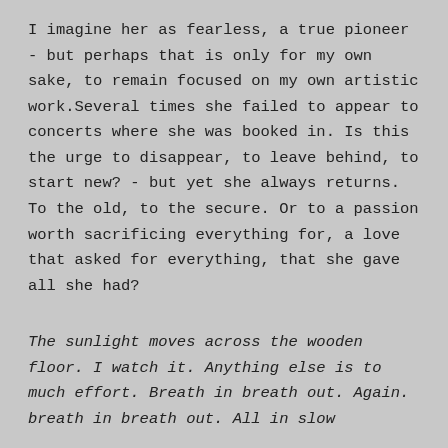I imagine her as fearless, a true pioneer - but perhaps that is only for my own sake, to remain focused on my own artistic work.Several times she failed to appear to concerts where she was booked in. Is this the urge to disappear, to leave behind, to start new? - but yet she always returns. To the old, to the secure. Or to a passion worth sacrificing everything for, a love that asked for everything, that she gave all she had?
The sunlight moves across the wooden floor. I watch it. Anything else is to much effort. Breath in breath out. Again. breath in breath out. All in slow